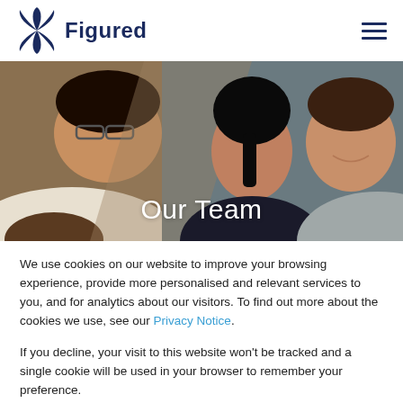[Figure (logo): Figured company logo with star/compass icon in dark navy blue and the word 'Figured' in bold navy text]
[Figure (photo): Hero photo of team members meeting around a table, smiling and engaged in conversation. A woman with dark hair in the center, a man in white shirt on the left, and a man in grey shirt on the right.]
Our Team
We use cookies on our website to improve your browsing experience, provide more personalised and relevant services to you, and for analytics about our visitors. To find out more about the cookies we use, see our Privacy Notice.
If you decline, your visit to this website won't be tracked and a single cookie will be used in your browser to remember your preference.